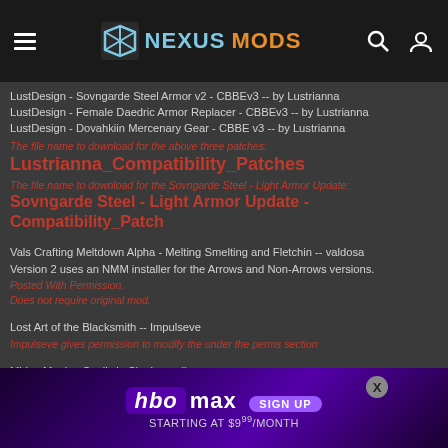NEXUSMODS
LustDesign - Sovngarde Steel Armor v2 - CBBEv3 -- by Lustrianna
LustDesign - Female Daedric Armor Replacer - CBBEv3 -- by Lustrianna
LustDesign - Dovahkiin Mercenary Gear - CBBE v3 -- by Lustrianna
The file name to download for the above three patches:
Lustrianna_Compatibility_Patches
The file name to download for the Sovngarde Steel - Light Armor Update:
Sovngarde Steel - Light Armor Update - Compatibility_Patch
Vals Crafting Meltdown Alpha - Melting Smelting and Fletchin -- valdosa
Version 2 uses an NMM installer for the Arrows and Non-Arrows versions.
Posted With Permission.
Does not require original mod.
Lost Art of the Blacksmith -- Impulseve
Impulseve gives permission to modify the under the perms section
Midas Magic - Spells in Skyrim -- xilver
Removed because the author was charging for this mod on P...m. Now it's a free d... ... ... anole's - File 0.6 F... ... TES5Edit v... ... ignore